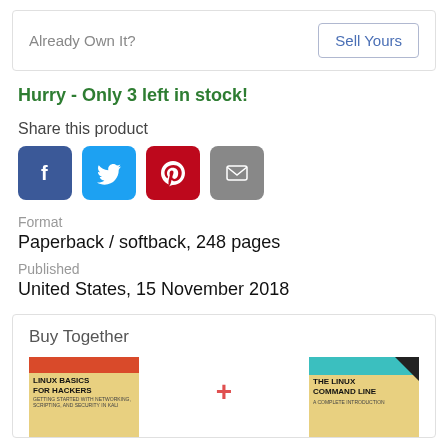Already Own It?
Sell Yours
Hurry - Only 3 left in stock!
Share this product
[Figure (infographic): Four social sharing buttons: Facebook (blue), Twitter (light blue), Pinterest (red), Email (grey)]
Format
Paperback / softback, 248 pages
Published
United States, 15 November 2018
Buy Together
[Figure (photo): Book cover: Linux Basics for Hackers with red top bar and yellow background]
[Figure (photo): Book cover: The Linux Command Line with teal top bar and yellow background]